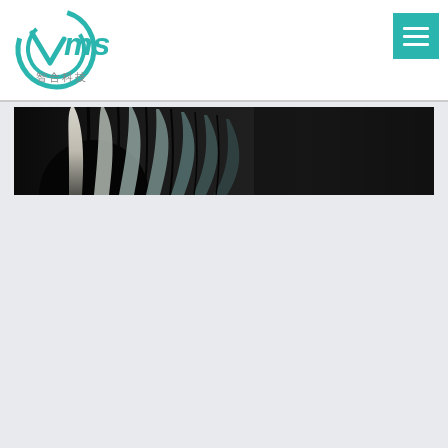[Figure (logo): VMS 智合科技 company logo with teal circular design and Chinese text]
[Figure (other): Teal square menu button with three horizontal white lines (hamburger icon)]
[Figure (photo): Dark banner image showing a close-up of turbine or fan blades with curved white and grey metallic fins against a dark background]